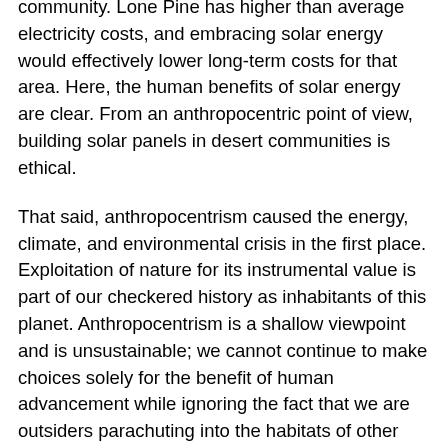community. Lone Pine has higher than average electricity costs, and embracing solar energy would effectively lower long-term costs for that area. Here, the human benefits of solar energy are clear. From an anthropocentric point of view, building solar panels in desert communities is ethical.
That said, anthropocentrism caused the energy, climate, and environmental crisis in the first place. Exploitation of nature for its instrumental value is part of our checkered history as inhabitants of this planet. Anthropocentrism is a shallow viewpoint and is unsustainable; we cannot continue to make choices solely for the benefit of human advancement while ignoring the fact that we are outsiders parachuting into the habitats of other organisms. The “responsibility to protect” is a philosophy which holds that we, as creatures with intelligence, have an obligation to protect the most vulnerable among us. Usually, this philosophy is applied to our behavior towards fellow humans; however, we can extend this “responsibility to protect” to non-human entities. Then, it would be incumbent on humans towards the environment to protect the most vulnerable organisms to the best of our ability.